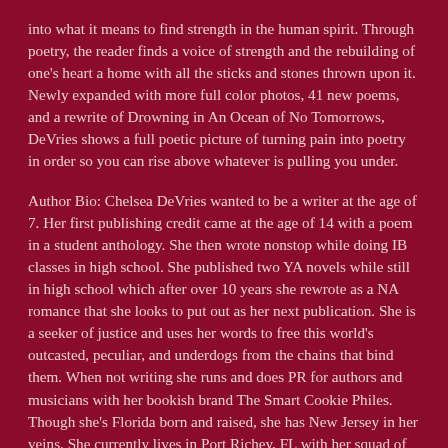into what it means to find strength in the human spirit. Through poetry, the reader finds a voice of strength and the rebuilding of one's heart a home with all the sticks and stones thrown upon it. Newly expanded with more full color photos, 41 new poems, and a rewrite of Drowning in An Ocean of No Tomorrows, DeVries shows a full poetic picture of turning pain into poetry in order so you can rise above whatever is pulling you under.
Author Bio: Chelsea DeVries wanted to be a writer at the age of 7. Her first publishing credit came at the age of 14 with a poem in a student anthology. She then wrote nonstop while doing IB classes in high school. She published two YA novels while still in high school which after over 10 years she rewrote as a NA romance that she looks to put out as her next publication. She is a seeker of justice and uses her words to free this world's outcasted, peculiar, and underdogs from the chains that bind them. When not writing she runs and does PR for authors and musicians with her bookish brand The Smart Cookie Philes. Though she's Florida born and raised, she has New Jersey in her veins. She currently lives in Port Richey, FL with her squad of two dogs.You can follow her on Instagram and Facebook at @onegirlrevolution26_, and her squad